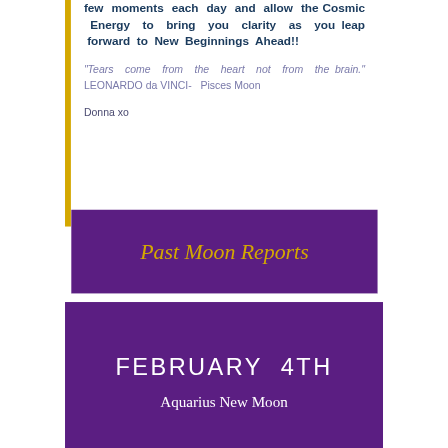few moments each day and allow the Cosmic Energy to bring you clarity as you leap forward to New Beginnings Ahead!!
"Tears come from the heart not from the brain." LEONARDO da VINCI- Pisces Moon
Donna xo
Past Moon Reports
FEBRUARY 4TH
Aquarius New Moon